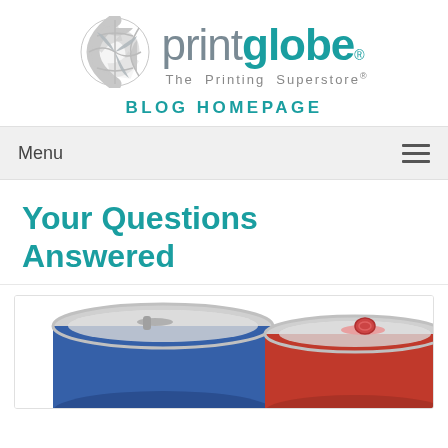[Figure (logo): PrintGlobe logo with globe icon and wordmark, tagline 'The Printing Superstore®']
BLOG HOMEPAGE
Menu
Your Questions Answered
[Figure (photo): Close-up photo of two beverage cans — one blue and one red — showing the tops with pull tabs]